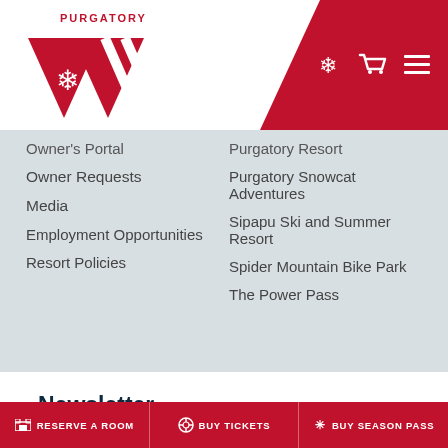Purgatory Resort navigation header with logo and icons
Owner's Portal
Owner Requests
Media
Employment Opportunities
Resort Policies
Purgatory Resort
Purgatory Snowcat Adventures
Sipapu Ski and Summer Resort
Spider Mountain Bike Park
The Power Pass
Newsletter
Stay in the loop with email alerts for specials, events, updates, and weather reports.
RESERVE A ROOM | BUY TICKETS | BUY SEASON PASS